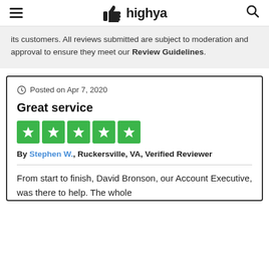highya
its customers. All reviews submitted are subject to moderation and approval to ensure they meet our Review Guidelines.
Posted on Apr 7, 2020
Great service
[Figure (other): 5 green star rating boxes]
By Stephen W., Ruckersville, VA, Verified Reviewer
From start to finish, David Bronson, our Account Executive, was there to help. The whole